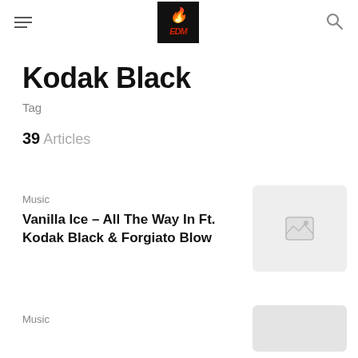Navigation header with hamburger menu, logo, and search icon
Kodak Black
Tag
39 Articles
Music
Vanilla Ice – All The Way In Ft. Kodak Black & Forgiato Blow
[Figure (photo): Placeholder image thumbnail for article]
Music